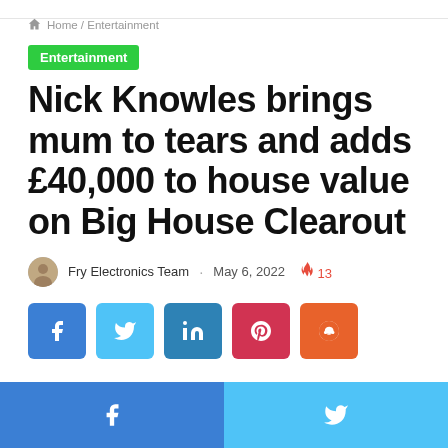Home / Entertainment
Entertainment
Nick Knowles brings mum to tears and adds £40,000 to house value on Big House Clearout
Fry Electronics Team · May 6, 2022 🔥 13
[Figure (other): Social share buttons: Facebook, Twitter, LinkedIn, Pinterest, Reddit]
Facebook share | Twitter share